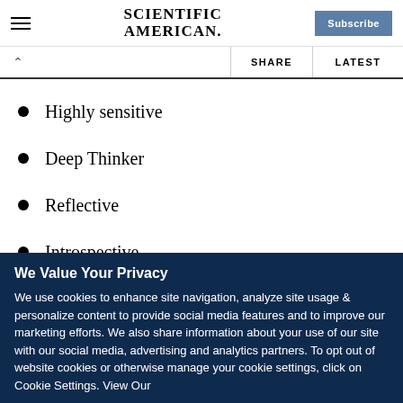SCIENTIFIC AMERICAN
Highly sensitive
Deep Thinker
Reflective
Introspective
Negative emotions
We Value Your Privacy
We use cookies to enhance site navigation, analyze site usage & personalize content to provide social media features and to improve our marketing efforts. We also share information about your use of our site with our social media, advertising and analytics partners. To opt out of website cookies or otherwise manage your cookie settings, click on Cookie Settings. View Our